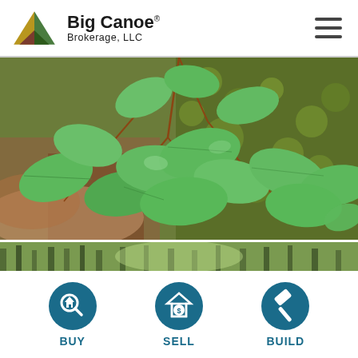[Figure (logo): Big Canoe Brokerage LLC logo with triangle mountain icon in gold, green, and brown, with text 'Big Canoe Brokerage, LLC']
[Figure (photo): Close-up photo of green leaves and vines growing on a mossy surface in a forest setting]
[Figure (photo): Partial photo of a forest floor with green trees in the background]
[Figure (infographic): Three circular teal icons for BUY (magnifying glass with house), SELL (house with dollar sign), and BUILD (hammer), with labels below]
BUY
SELL
BUILD